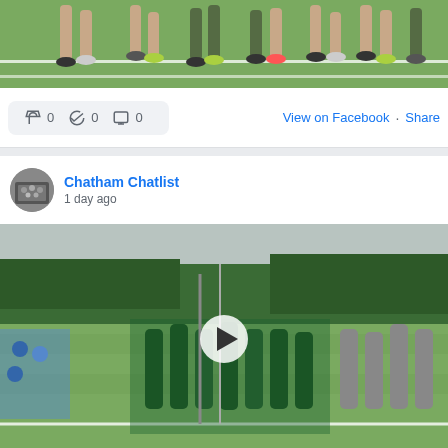[Figure (photo): Partial view of athletes legs and feet on a grass field with white line markings, top portion cropped]
0   0   0
View on Facebook · Share
[Figure (photo): Circular avatar/profile photo of Chatham Chatlist showing a black and white group scene]
Chatham Chatlist
1 day ago
[Figure (photo): Video thumbnail of female cross-country runners in green uniforms gathered together on a grass field, with a play button overlay. Other athletes in gray uniforms visible on right.]